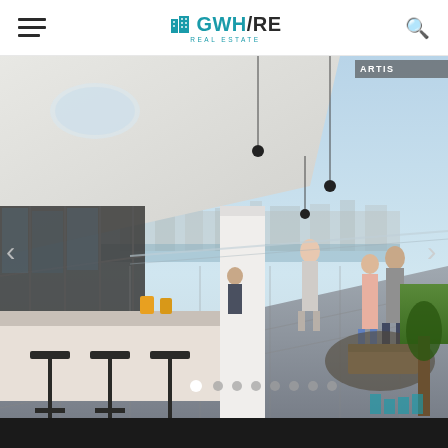GWH/RE REAL ESTATE - Navigation bar with hamburger menu and search icon
[Figure (photo): Architectural rendering of a modern rooftop terrace/penthouse with glass walls, outdoor seating area, kitchen bar, and city skyline views. People socializing on the rooftop. 'ARTIST' watermark visible in top right corner. Slider navigation arrows and dot indicators visible. GWH logo watermark in bottom right.]